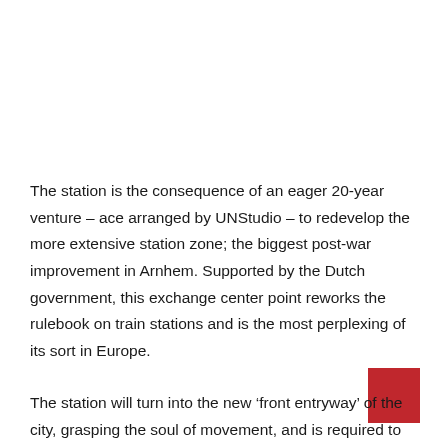The station is the consequence of an eager 20-year venture – ace arranged by UNStudio – to redevelop the more extensive station zone; the biggest post-war improvement in Arnhem. Supported by the Dutch government, this exchange center point reworks the rulebook on train stations and is the most perplexing of its sort in Europe.
The station will turn into the new ‘front entryway’ of the city, grasping the soul of movement, and is required to set up